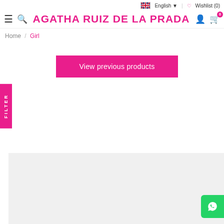English  Wishlist (0)
AGATHA RUIZ DE LA PRADA
Home / Girl
View previous products
FILTER
[Figure (screenshot): Light gray product image placeholder area at bottom of page]
[Figure (logo): WhatsApp chat button (green square with WhatsApp icon) at bottom right]